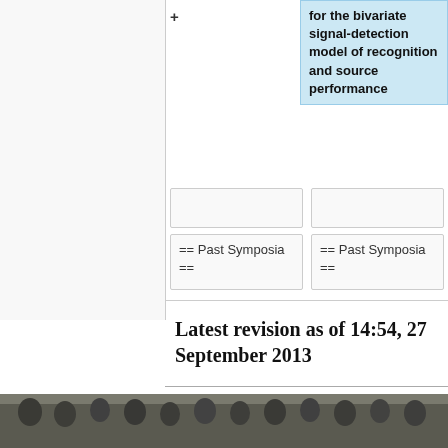for the bivariate signal-detection model of recognition and source performance
== Past Symposia ==
== Past Symposia ==
Latest revision as of 14:54, 27 September 2013
[Figure (photo): Group photo of approximately 60-70 conference attendees standing on a staircase inside a building with a framed picture visible on the wall behind them.]